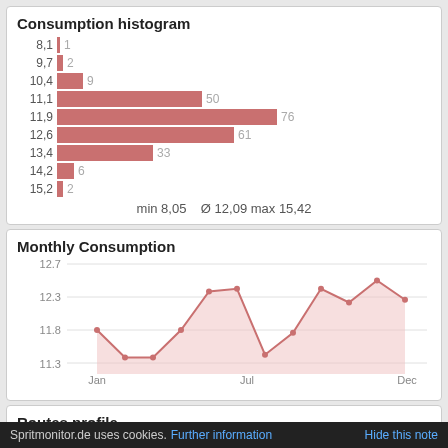[Figure (histogram): Consumption histogram]
[Figure (area-chart): Monthly Consumption]
Routes profile
Spritmonitor.de uses cookies. Further information   Hide this note